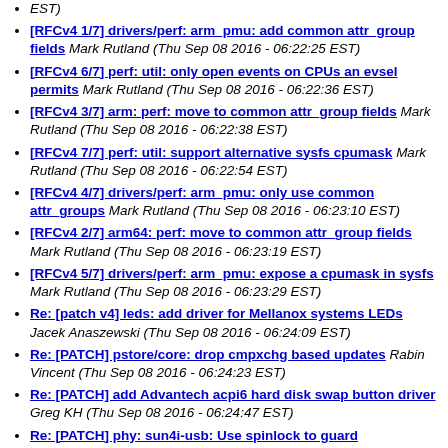[RFCv4 1/7] drivers/perf: arm_pmu: add common attr_group fields Mark Rutland (Thu Sep 08 2016 - 06:22:25 EST)
[RFCv4 6/7] perf: util: only open events on CPUs an evsel permits Mark Rutland (Thu Sep 08 2016 - 06:22:36 EST)
[RFCv4 3/7] arm: perf: move to common attr_group fields Mark Rutland (Thu Sep 08 2016 - 06:22:38 EST)
[RFCv4 7/7] perf: util: support alternative sysfs cpumask Mark Rutland (Thu Sep 08 2016 - 06:22:54 EST)
[RFCv4 4/7] drivers/perf: arm_pmu: only use common attr_groups Mark Rutland (Thu Sep 08 2016 - 06:23:10 EST)
[RFCv4 2/7] arm64: perf: move to common attr_group fields Mark Rutland (Thu Sep 08 2016 - 06:23:19 EST)
[RFCv4 5/7] drivers/perf: arm_pmu: expose a cpumask in sysfs Mark Rutland (Thu Sep 08 2016 - 06:23:29 EST)
Re: [patch v4] leds: add driver for Mellanox systems LEDs Jacek Anaszewski (Thu Sep 08 2016 - 06:24:09 EST)
Re: [PATCH] pstore/core: drop cmpxchg based updates Rabin Vincent (Thu Sep 08 2016 - 06:24:23 EST)
Re: [PATCH] add Advantech acpi6 hard disk swap button driver Greg KH (Thu Sep 08 2016 - 06:24:47 EST)
Re: [PATCH] phy: sun4i-usb: Use spinlock to guard…